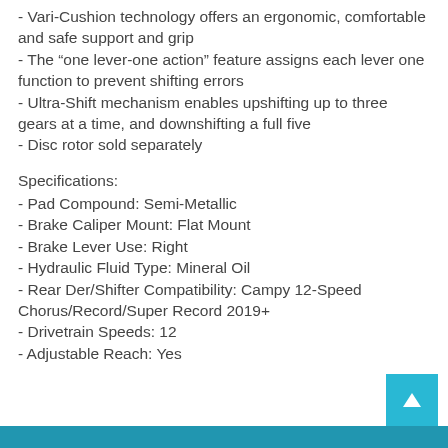- Vari-Cushion technology offers an ergonomic, comfortable and safe support and grip
- The “one lever-one action” feature assigns each lever one function to prevent shifting errors
- Ultra-Shift mechanism enables upshifting up to three gears at a time, and downshifting a full five
- Disc rotor sold separately
Specifications:
- Pad Compound: Semi-Metallic
- Brake Caliper Mount: Flat Mount
- Brake Lever Use: Right
- Hydraulic Fluid Type: Mineral Oil
- Rear Der/Shifter Compatibility: Campy 12-Speed Chorus/Record/Super Record 2019+
- Drivetrain Speeds: 12
- Adjustable Reach: Yes